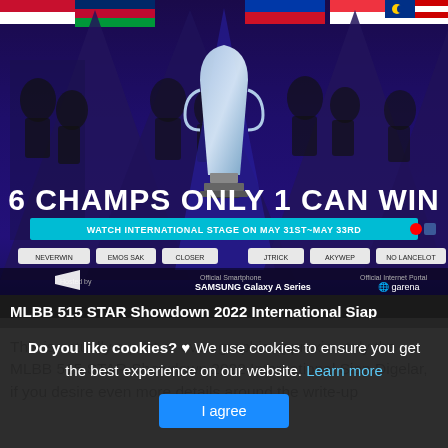[Figure (photo): MLBB 515 STAR Showdown 2022 promotional banner showing 6 champions from different Southeast Asian countries, a trophy in the center, text '6 CHAMPS ONLY 1 CAN WIN', and 'WATCH INTERNATIONAL STAGE ON MAY 31ST - MAY 33RD', with sponsor logos Samsung Galaxy A Series and Garena at the bottom.]
MLBB 515 STAR Showdown 2022 International Siap
This is actually a post or even graphic approximately the MLBB 515 STAR Showdown 2022 International Siap Digelar, if you desire even more details around the write-up
Do you like cookies? ♥ We use cookies to ensure you get the best experience on our website. Learn more
I agree